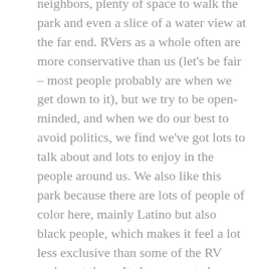neighbors, plenty of space to walk the park and even a slice of a water view at the far end. RVers as a whole often are more conservative than us (let's be fair – most people probably are when we get down to it), but we try to be open-minded, and when we do our best to avoid politics, we find we've got lots to talk about and lots to enjoy in the people around us. We also like this park because there are lots of people of color here, mainly Latino but also black people, which makes it feel a lot less exclusive than some of the RV parks out there. It also seems to have a diverse range of incomes, judging by the range of people who stay here, some of them staying year-round.
All that being said, our neighbors, in our humble opinions, aren't taking the virus seriously. Ross and I have been self-isolating since March 17th, and by early April snowbirds were mostly vacating the campground here (still lots of